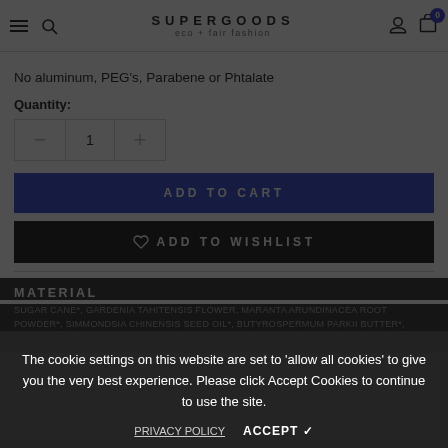SUPERGOODS eco + fair fashion — navigation bar with hamburger, search, user, cart (0)
No aluminum, PEG's, Parabene or Phtalate
Quantity:
1 (quantity selector with minus and plus)
ADD TO CART
♡  ADD TO WISHLIST
MATERIAL
SUGAR CANE*, GARDENIA TAHITENSIS FLOWER, MARANTA ARUNDINACEA ROOT POWDER*, SIMMONDSIA CHINENSIS SEED OIL*, BUTYROSPERMUM PARKII BUTTER*, COCOS NUCIFERA OIL*, COCO-CAPRYLATE/CAPRATE, HELIANTHUS ANNUUS SEED
The cookie settings on this website are set to 'allow all cookies' to give you the very best experience. Please click Accept Cookies to continue to use the site.
PRIVACY POLICY    ACCEPT ✓